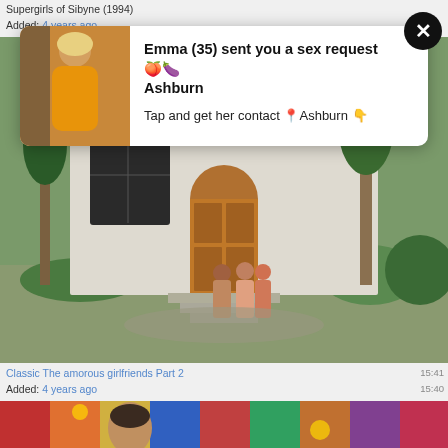Supergirls of Sibyne (1994)
Added: 4 years ago
[Figure (screenshot): Ad overlay with photo of woman in orange outfit on left, text 'Emma (35) sent you a sex request Ashburn / Tap and get her contact Ashburn' on white card with dark close button]
[Figure (screenshot): Video thumbnail showing classic film scene with people entering a white building with arched door and steps]
Classic The amorous girlfriends Part 2
Added: 4 years ago
[Figure (screenshot): Partial video thumbnail showing a woman with dark hair against colorful patterned background]